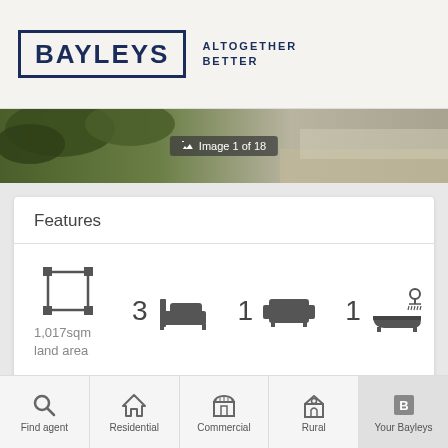[Figure (logo): Bayleys real estate logo with tagline ALTOGETHER BETTER]
[Figure (photo): Property exterior photo showing garden hedges and gravel path, labeled Image 1 of 18]
Features
1,017sqm land area
3 bedrooms, 1 lounge, 1 bathroom, 1 garage
Find agent | Residential | Commercial | Rural | Your Bayleys